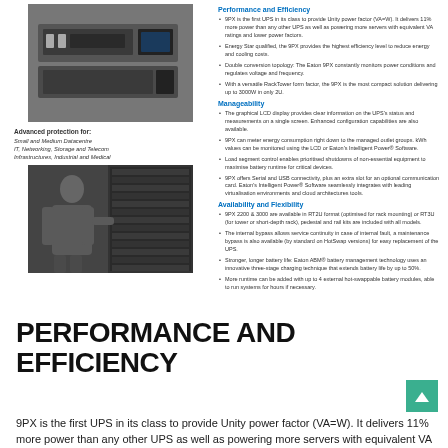[Figure (photo): Eaton 9PX UPS rack-mounted unit product photo]
Advanced protection for:
Small and Medium Datacentre
IT, Networking, Storage and Telecom
Infrastructures, Industrial and Medical
[Figure (photo): IT professional working in a server rack room]
Performance and Efficiency
9PX is the first UPS in its class to provide Unity power factor (VA=W). It delivers 11% more power than any other UPS as well as powering more servers with equivalent VA ratings and lower power factors.
Energy Star qualified, the 9PX provides the highest efficiency level to reduce energy and cooling costs.
Double conversion topology: The Eaton 9PX constantly monitors power conditions and regulates voltage and frequency.
With a versatile RackTower form factor, the 9PX is the most compact solution delivering up to 3000W in only 2U.
Manageability
The graphical LCD display provides clear information on the UPS's status and measurements on a single screen. Enhanced configuration capabilities are also available.
9PX can meter energy consumption right down to the managed outlet groups. kWh values can be monitored using the LCD or Eaton's Intelligent Power® Software.
Load segment control enables prioritised shutdowns of non-essential equipment to maximise battery runtime for critical devices.
9PX offers Serial and USB connectivity, plus an extra slot for an optional communication card. Eaton's Intelligent Power® Software seamlessly integrates with leading virtualisation environments and cloud architectures tools.
Availability and Flexibility
9PX 2200 & 3000 are available in RT2U format (optimised for rack mounting) or RT3U (for tower or short-depth rack), pedestal and rail kits are included with all models.
The internal bypass allows service continuity in case of internal fault, a maintenance bypass is also available (by standard on HotSwap versions) for easy replacement of the UPS.
Stronger, longer battery life: Eaton ABM® battery management technology uses an innovative three-stage charging technique that extends battery life by up to 50%.
More runtime can be added with up to 4 external hot-swappable battery modules, able to run systems for hours if necessary.
PERFORMANCE AND EFFICIENCY
9PX is the first UPS in its class to provide Unity power factor (VA=W). It delivers 11% more power than any other UPS as well as powering more servers with equivalent VA ratings and lower